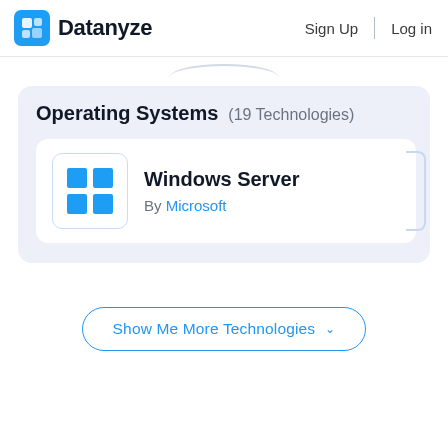Datanyze   Sign Up   Log in
Operating Systems (19 Technologies)
Windows Server
By Microsoft
Show Me More Technologies